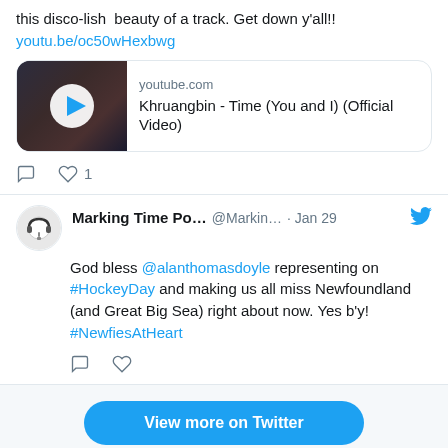this disco-lish  beauty of a track. Get down y'all!!
youtu.be/oc50wHexbwg
[Figure (screenshot): YouTube video thumbnail for Khruangbin - Time (You and I) (Official Video) with play button overlay]
youtube.com
Khruangbin - Time (You and I) (Official Video)
Comment and like icons, 1 like
Marking Time Po... @Markin... · Jan 29
God bless @alanthomasdoyle representing on #HockeyDay and making us all miss Newfoundland (and Great Big Sea) right about now. Yes b'y! #NewfiesAtHeart
Comment and like icons
View more on Twitter
Learn about privacy on Twitter